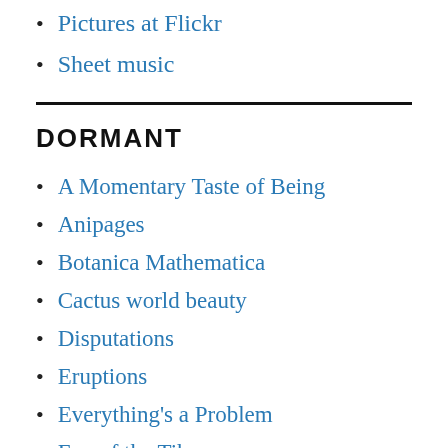Pictures at Flickr
Sheet music
DORMANT
A Momentary Taste of Being
Anipages
Botanica Mathematica
Cactus world beauty
Disputations
Eruptions
Everything's a Problem
Eye of the Tiber
Fun Blog